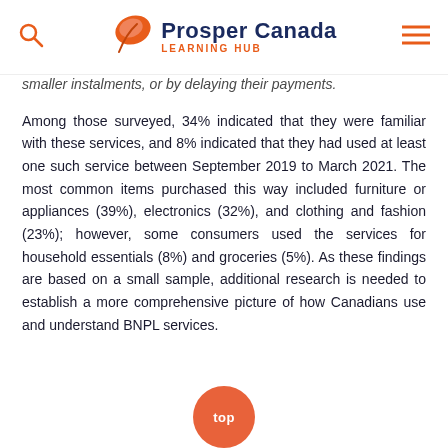Prosper Canada Learning Hub
smaller instalments, or by delaying their payments.
Among those surveyed, 34% indicated that they were familiar with these services, and 8% indicated that they had used at least one such service between September 2019 to March 2021. The most common items purchased this way included furniture or appliances (39%), electronics (32%), and clothing and fashion (23%); however, some consumers used the services for household essentials (8%) and groceries (5%). As these findings are based on a small sample, additional research is needed to establish a more comprehensive picture of how Canadians use and understand BNPL services.
[Figure (other): Orange circular 'top' button at the bottom center of the page]